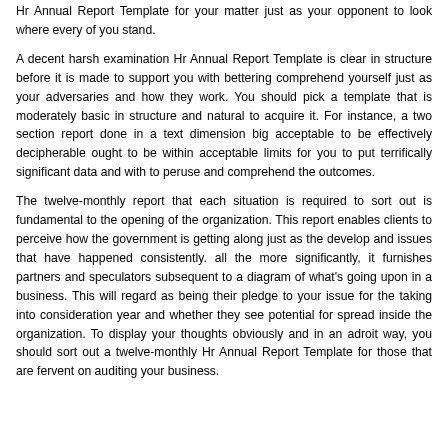Hr Annual Report Template for your matter just as your opponent to look where every of you stand.
A decent harsh examination Hr Annual Report Template is clear in structure before it is made to support you with bettering comprehend yourself just as your adversaries and how they work. You should pick a template that is moderately basic in structure and natural to acquire it. For instance, a two section report done in a text dimension big acceptable to be effectively decipherable ought to be within acceptable limits for you to put terrifically significant data and with to peruse and comprehend the outcomes.
The twelve-monthly report that each situation is required to sort out is fundamental to the opening of the organization. This report enables clients to perceive how the government is getting along just as the develop and issues that have happened consistently. all the more significantly, it furnishes partners and speculators subsequent to a diagram of what's going upon in a business. This will regard as being their pledge to your issue for the taking into consideration year and whether they see potential for spread inside the organization. To display your thoughts obviously and in an adroit way, you should sort out a twelve-monthly Hr Annual Report Template for those that are fervent on auditing your business.